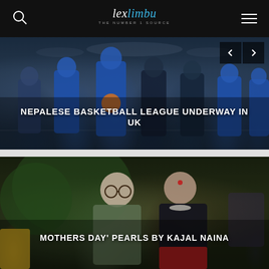lexlimbu THE NUMBER 1 SOURCE
[Figure (photo): Nepalese basketball players standing on a court in blue jerseys, indoor gym setting]
NEPALESE BASKETBALL LEAGUE UNDERWAY IN UK
[Figure (photo): Two people smiling together, a man in glasses and a woman in a saree with a bindi, seated in a decorated venue]
MOTHERS DAY' PEARLS BY KAJAL NAINA